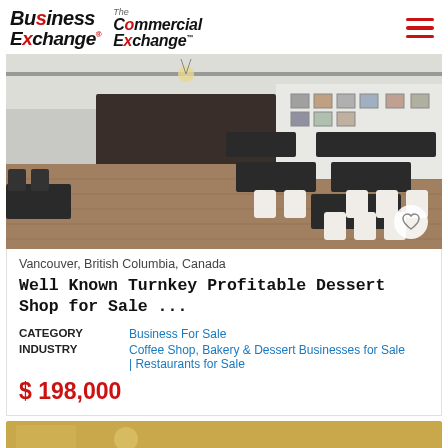Business Exchange / The Commercial Exchange
[Figure (photo): Interior of a modern dessert shop/cafe with dark tables, white chairs, hardwood-style floor, track lighting, artwork on walls, and service counter in the background.]
Vancouver, British Columbia, Canada
Well Known Turnkey Profitable Dessert Shop for Sale ...
| Field | Value |
| --- | --- |
| CATEGORY | Business For Sale |
| INDUSTRY | Coffee Shop, Bakery & Dessert Businesses for Sale | Restaurants for Sale |
$ 198,000
[Figure (photo): Partial view of a second listing card with yellow/golden background visible at the bottom of the page.]